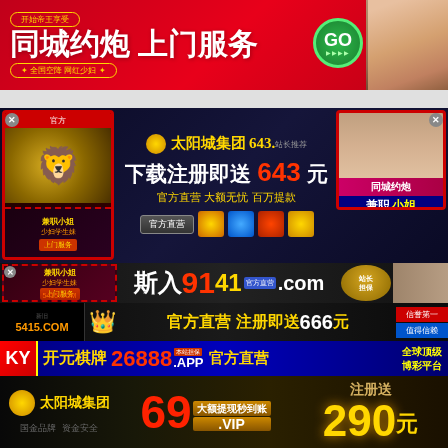[Figure (infographic): Red banner ad: 同城约炮 上门服务, 开始帝王享受, 全国空降 网红少妇, GO button, woman in red]
[Figure (infographic): Dark casino banner: 太阳城集团 643, 下载注册即送 643 元, 官方直营 大额无忧 百万提, gold lion left, woman right with 同城约炮 兼职小姐]
[Figure (infographic): Dark banner with 斯入 9141.com 官方直营, 站长担保 badge, 兼职小姐 少妇学生妹 上门服务, 5415.COM]
[Figure (infographic): Dark banner: 官方直营 注册即送666元, 信誉第一 值得信赖]
[Figure (infographic): Blue banner: KY 开元棋牌 26888.APP 官方直营 全球顶级 博彩平台]
[Figure (infographic): Dark banner: 太阳城集团, 69.VIP 大额提现秒到账, 注册送 290 元, 国金品牌 资金安全]